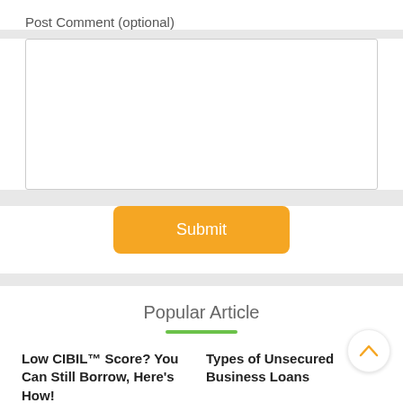Post Comment (optional)
Submit
Popular Article
Low CIBIL™ Score? You Can Still Borrow, Here's How!
Types of Unsecured Business Loans
Debit Cards Vs Credit
What Is Agriculture Loan in